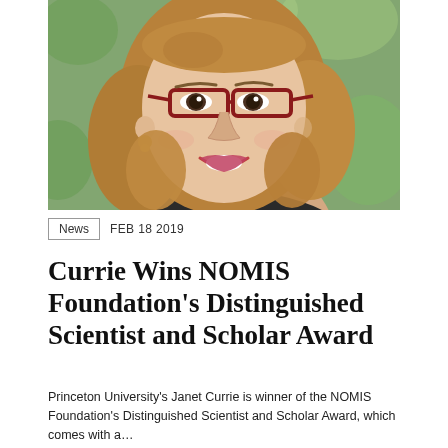[Figure (photo): Portrait photo of a woman with reddish-brown glasses, shoulder-length blonde-brown hair, gold earrings, and red lipstick, smiling. Taken outdoors with a blurred green background.]
News   FEB 18 2019
Currie Wins NOMIS Foundation’s Distinguished Scientist and Scholar Award
Princeton University’s Janet Currie is winner of the NOMIS Foundation’s Distinguished Scientist and Scholar Award, which comes with a…